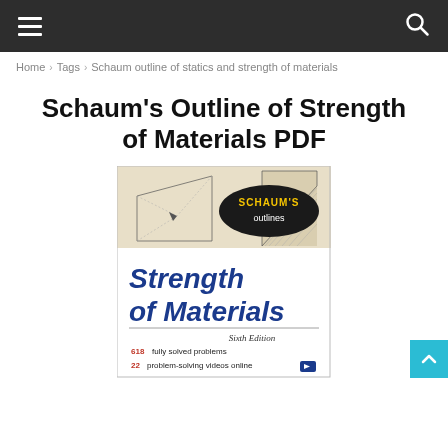☰ [navigation bar] 🔍
Home › Tags › Schaum outline of statics and strength of materials
Schaum's Outline of Strength of Materials PDF
[Figure (photo): Book cover of Schaum's Outlines: Strength of Materials, Sixth Edition. Features an oval logo reading SCHAUM'S outlines on a black/dark background, bold blue italic text reading 'Strength of Materials', italic text reading 'Sixth Edition', and text '618 fully solved problems, 22 problem-solving videos online'. Background shows engineering/statics diagrams.]